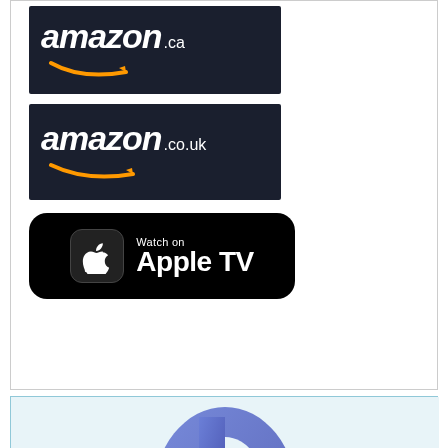[Figure (logo): Amazon.ca logo — dark navy background with white italic 'amazon' text followed by '.ca' in smaller text, and an orange smile/arrow underneath]
[Figure (logo): Amazon.co.uk logo — dark navy background with white italic 'amazon' text followed by '.co.uk' in smaller text, and an orange smile/arrow underneath]
[Figure (logo): Watch on Apple TV badge — black rounded rectangle with Apple TV icon on the left and 'Watch on Apple TV' text on the right]
[Figure (logo): Paramount+ logo partial — light blue background with bottom portion of the Paramount+ 'P' mountain logo visible in blue/purple gradient]